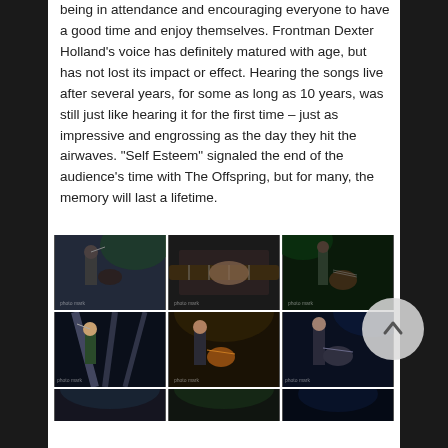being in attendance and encouraging everyone to have a good time and enjoy themselves. Frontman Dexter Holland's voice has definitely matured with age, but has not lost its impact or effect. Hearing the songs live after several years, for some as long as 10 years, was still just like hearing it for the first time – just as impressive and engrossing as the day they hit the airwaves. "Self Esteem" signaled the end of the audience's time with The Offspring, but for many, the memory will last a lifetime.
[Figure (photo): Six concert photos in a 2x3 grid showing band members of The Offspring performing on stage, including guitarist and vocalist shots with stage lighting. A scroll-to-top button overlaps the right side.]